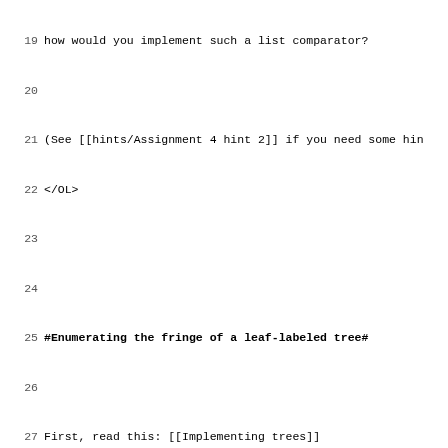19  how would you implement such a list comparator?
20
21 (See [[hints/Assignment 4 hint 2]] if you need some hin
22 </OL>
23
24
#Enumerating the fringe of a leaf-labeled tree#
26
27 First, read this: [[Implementing trees]]
28
29 <OL start=3>
30 <LI>blah
31
32 (See [[hints/Assignment 4 hint 3]] if you need some hin
33 </OL>
34
35
#Mutually-recursive functions#
37
38 <OL start=4>
39 <LI>(Challenging.) One way to define the function `even
40
41        let even = \x. iszero x
42                                      ; if x == 0 the
43                                      true
44                                      ; else result t
45                                      (odd (pred x))
46
47 At the same tme, though, it's natural to define `odd` i
48
49        let odd = \x. iszero x
50                                      ; if x == 0 the
51                                      false